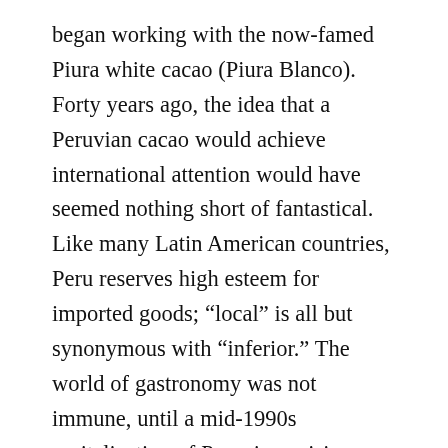began working with the now-famed Piura white cacao (Piura Blanco). Forty years ago, the idea that a Peruvian cacao would achieve international attention would have seemed nothing short of fantastical. Like many Latin American countries, Peru reserves high esteem for imported goods; “local” is all but synonymous with “inferior.” The world of gastronomy was not immune, until a mid-1990s revitalization of Peruvian cuisine stimulated pride in classic dishes. This embracement of local ingredients paved the way for the craft chocolate industry when, some 20 years later, native cacaos like the Piura Blanco, the Cusco Chuncho and the